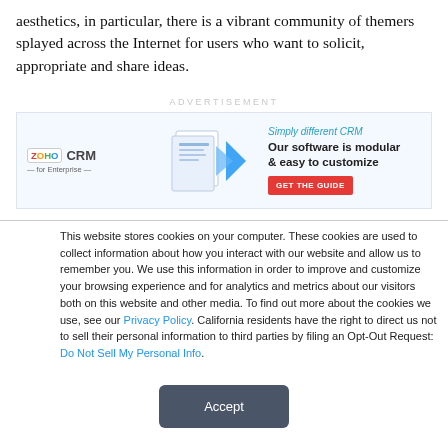aesthetics, in particular, there is a vibrant community of themers splayed across the Internet for users who want to solicit, appropriate and share ideas.
[Figure (infographic): Zoho CRM for Enterprise advertisement banner with tagline 'Simply different CRM', headline 'Our software is modular & easy to customize', and a red 'GET THE GUIDE' button.]
This website stores cookies on your computer. These cookies are used to collect information about how you interact with our website and allow us to remember you. We use this information in order to improve and customize your browsing experience and for analytics and metrics about our visitors both on this website and other media. To find out more about the cookies we use, see our Privacy Policy. California residents have the right to direct us not to sell their personal information to third parties by filing an Opt-Out Request: Do Not Sell My Personal Info.
Accept